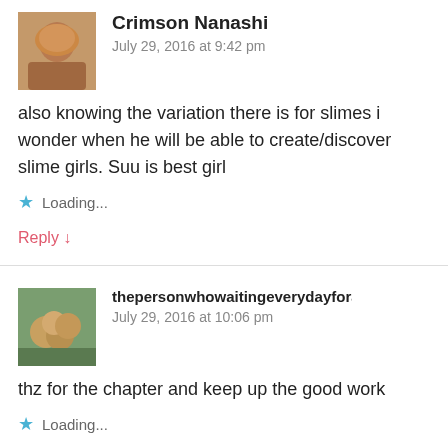Crimson Nanashi
July 29, 2016 at 9:42 pm
also knowing the variation there is for slimes i wonder when he will be able to create/discover slime girls. Suu is best girl
Loading...
Reply ↓
thepersonwhowaitingeverydayforareleas
July 29, 2016 at 10:06 pm
thz for the chapter and keep up the good work
Loading...